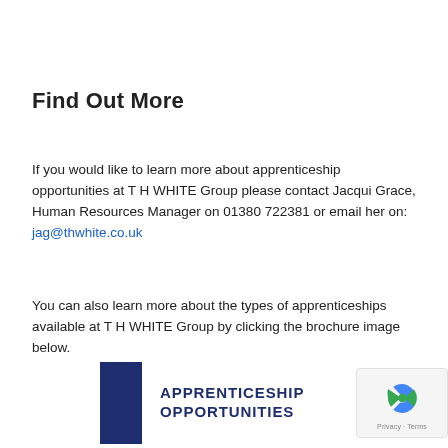Find Out More
If you would like to learn more about apprenticeship opportunities at T H WHITE Group please contact Jacqui Grace, Human Resources Manager on 01380 722381 or email her on: jag@thwhite.co.uk
You can also learn more about the types of apprenticeships available at T H WHITE Group by clicking the brochure image below.
[Figure (other): Apprenticeship Opportunities brochure cover with dark blue sidebar and bold text reading APPRENTICESHIP OPPORTUNITIES]